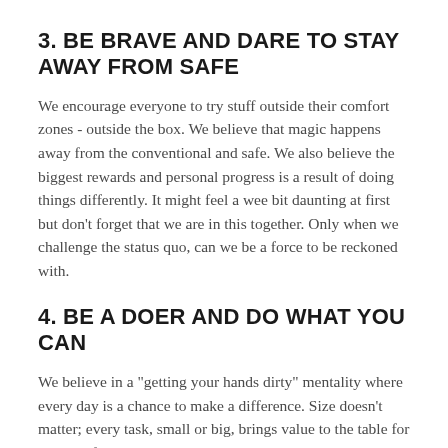3. BE BRAVE AND DARE TO STAY AWAY FROM SAFE
We encourage everyone to try stuff outside their comfort zones - outside the box. We believe that magic happens away from the conventional and safe. We also believe the biggest rewards and personal progress is a result of doing things differently. It might feel a wee bit daunting at first but don’t forget that we are in this together. Only when we challenge the status quo, can we be a force to be reckoned with.
4. BE A DOER AND DO WHAT YOU CAN
We believe in a “getting your hands dirty” mentality where every day is a chance to make a difference. Size doesn’t matter; every task, small or big, brings value to the table for you and for your colleagues. A doer is